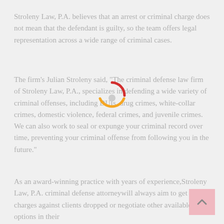Stroleny Law, P.A. believes that an arrest or criminal charge does not mean that the defendant is guilty, so the team offers legal representation across a wide range of criminal cases.
The firm's Julian Stroleny said, "The criminal defense law firm of Stroleny Law, P.A., specializes in defending a wide variety of criminal offenses, including DUIs, drug crimes, white-collar crimes, domestic violence, federal crimes, and juvenile crimes. We can also work to seal or expunge your criminal record over time, preventing your criminal offense from following you in the future."
As an award-winning practice with years of experience,Stroleny Law, P.A. criminal defense attorneywill always aim to get the charges against clients dropped or negotiate other available options in their